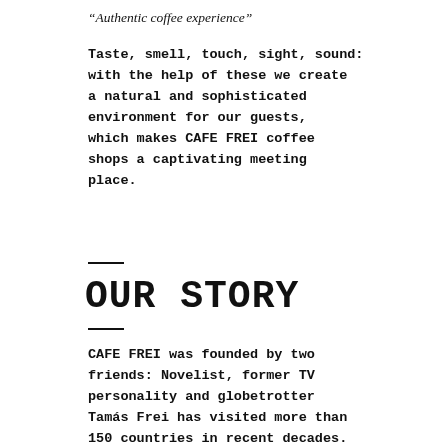“Authentic coffee experience”
Taste, smell, touch, sight, sound: with the help of these we create a natural and sophisticated environment for our guests, which makes CAFE FREI coffee shops a captivating meeting place.
OUR STORY
CAFE FREI was founded by two friends: Novelist, former TV personality and globetrotter Tamás Frei has visited more than 150 countries in recent decades.